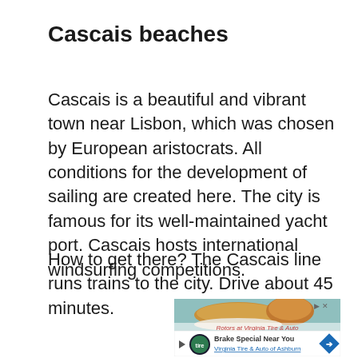Cascais beaches
Cascais is a beautiful and vibrant town near Lisbon, which was chosen by European aristocrats. All conditions for the development of sailing are created here. The city is famous for its well-maintained yacht port. Cascais hosts international windsurfing competitions.
How to get there? The Cascais line runs trains to the city. Drive about 45 minutes.
[Figure (photo): Advertisement banner showing food (bread/pastry) with teal background, and a Virginia Tire & Auto brake special ad below with logo and blue arrow icon.]